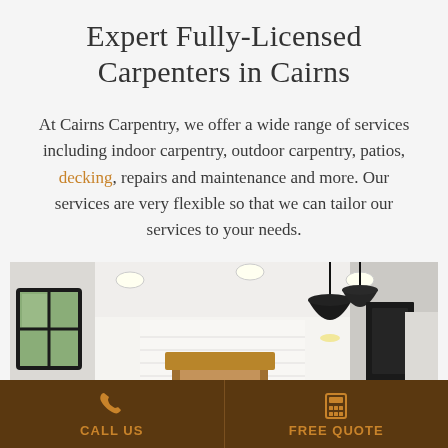Expert Fully-Licensed Carpenters in Cairns
At Cairns Carpentry, we offer a wide range of services including indoor carpentry, outdoor carpentry, patios, decking, repairs and maintenance and more. Our services are very flexible so that we can tailor our services to your needs.
[Figure (photo): Interior kitchen photo showing white walls, recessed ceiling lights, hanging black pendant lights, a wooden range hood, black-framed window, and kitchen cabinetry.]
CALL US
FREE QUOTE